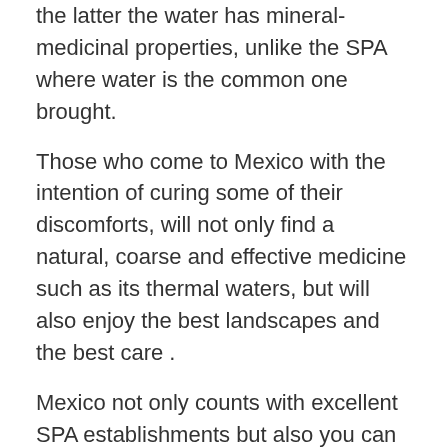the latter the water has mineral-medicinal properties, unlike the SPA where water is the common one brought.
Those who come to Mexico with the intention of curing some of their discomforts, will not only find a natural, coarse and effective medicine such as its thermal waters, but will also enjoy the best landscapes and the best care .
Mexico not only counts with excellent SPA establishments but also you can enjoy its surroundings, and most of these establishments are located in the best Mexican beaches and other places that also has a pleasant climate and many tourist attractions to know.
These are some places where the best SPAs are found in Mexico:
Gentleman.
Santiago, Querétaro.